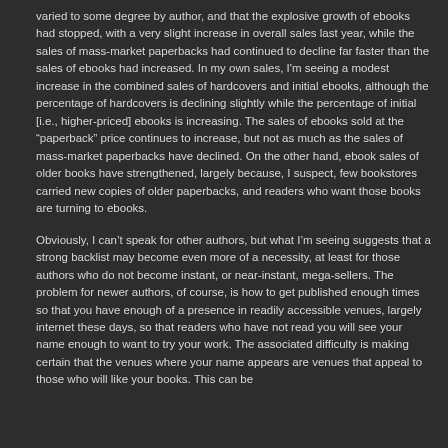varied to some degree by author, and that the explosive growth of ebooks had stopped, with a very slight increase in overall sales last year, while the sales of mass-market paperbacks had continued to decline far faster than the sales of ebooks had increased. In my own sales, I'm seeing a modest increase in the combined sales of hardcovers and initial ebooks, although the percentage of hardcovers is declining slightly while the percentage of initial [i.e., higher-priced] ebooks is increasing. The sales of ebooks sold at the "paperback" price continues to increase, but not as much as the sales of mass-market paperbacks have declined. On the other hand, ebook sales of older books have strengthened, largely because, I suspect, few bookstores carried new copies of older paperbacks, and readers who want those books are turning to ebooks.
Obviously, I can't speak for other authors, but what I'm seeing suggests that a strong backlist may become even more of a necessity, at least for those authors who do not become instant, or near-instant, mega-sellers. The problem for newer authors, of course, is how to get published enough times so that you have enough of a presence in readily accessible venues, largely internet these days, so that readers who have not read you will see your name enough to want to try your work. The associated difficulty is making certain that the venues where your name appears are venues that appeal to those who will like your books. This can be